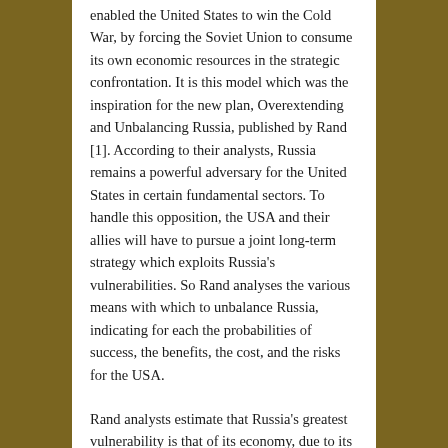enabled the United States to win the Cold War, by forcing the Soviet Union to consume its own economic resources in the strategic confrontation. It is this model which was the inspiration for the new plan, Overextending and Unbalancing Russia, published by Rand [1]. According to their analysts, Russia remains a powerful adversary for the United States in certain fundamental sectors. To handle this opposition, the USA and their allies will have to pursue a joint long-term strategy which exploits Russia's vulnerabilities. So Rand analyses the various means with which to unbalance Russia, indicating for each the probabilities of success, the benefits, the cost, and the risks for the USA.
Rand analysts estimate that Russia's greatest vulnerability is that of its economy, due to its heavy dependency on oil and gas exports. The income from these exports can be reduced by strengthening sanctions and increasing the energy exports of the United States. The goal is to oblige Europe to diminish its importation of Russian natural gas, and replace it by liquefied natural gas transported by